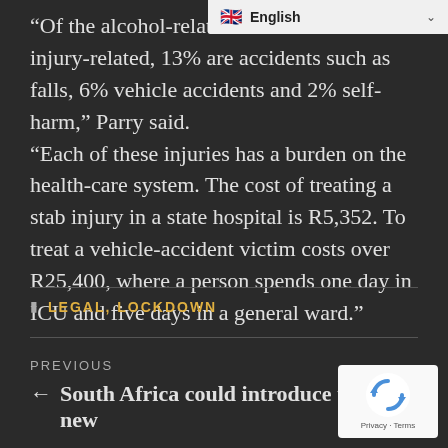[Figure (other): Language selector bar showing UK flag and 'English' with dropdown chevron]
“Of the alcohol-related admissions that are injury-related, 13% are accidents such as falls, 6% vehicle accidents and 2% self-harm,” Parry said. “Each of these injuries has a burden on the health-care system. The cost of treating a stab injury in a state hospital is R5,352. To treat a vehicle-accident victim costs over R25,400, where a person spends one day in ICU and five days in a general ward.”
LEGAL, LOCKDOWN
PREVIOUS
← South Africa could introduce these new